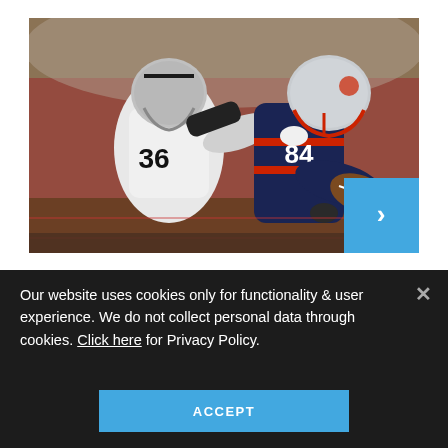[Figure (photo): Two American football players in action: a player in white Raiders jersey #36 attempting to tackle a player in dark blue Patriots jersey #84 who is carrying the ball. A blue arrow navigation button is overlaid at the bottom right.]
Our website uses cookies only for functionality & user experience. We do not collect personal data through cookies. Click here for Privacy Policy.
ACCEPT